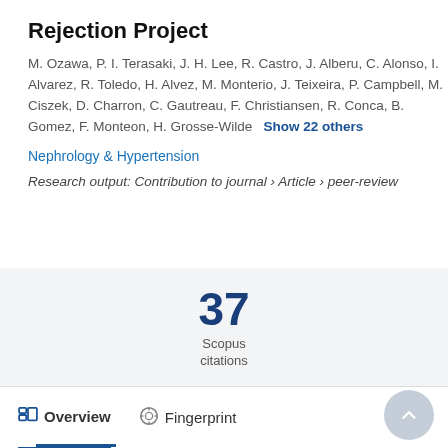Rejection Project
M. Ozawa, P. I. Terasaki, J. H. Lee, R. Castro, J. Alberu, C. Alonso, I. Alvarez, R. Toledo, H. Alvez, M. Monterio, J. Teixeira, P. Campbell, M. Ciszek, D. Charron, C. Gautreau, F. Christiansen, R. Conca, B. Gomez, F. Monteon, H. Grosse-Wilde   Show 22 others
Nephrology & Hypertension
Research output: Contribution to journal › Article › peer-review
37 Scopus citations
Overview   Fingerprint